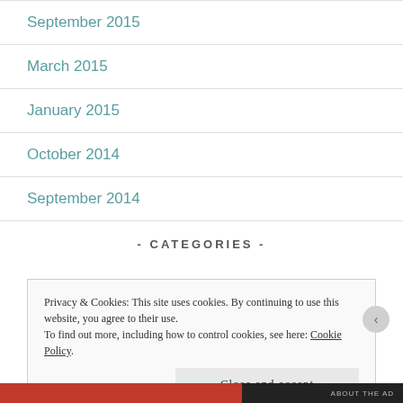September 2015
March 2015
January 2015
October 2014
September 2014
- CATEGORIES -
Privacy & Cookies: This site uses cookies. By continuing to use this website, you agree to their use.
To find out more, including how to control cookies, see here: Cookie Policy
Close and accept